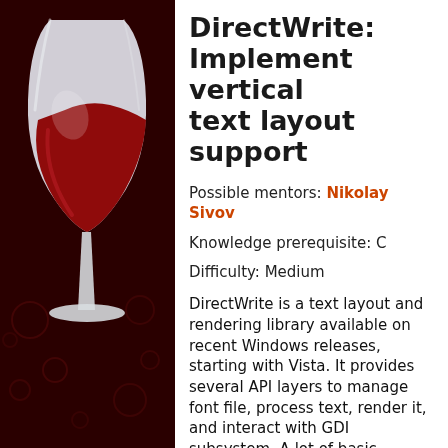[Figure (illustration): Wine project logo — a white wine glass on a dark red/maroon background with decorative circular patterns]
DirectWrite: Implement vertical text layout support
Possible mentors: Nikolay Sivov
Knowledge prerequisite: C
Difficulty: Medium
DirectWrite is a text layout and rendering library available on recent Windows releases, starting with Vista. It provides several API layers to manage font file, process text, render it, and interact with GDI subsystem. A lot of basic functionality is already supported in Wine, this proposal is however about specific feature to process and render text in vertical mode. This touches every layer mentioned above, brief summary on what needs to be done